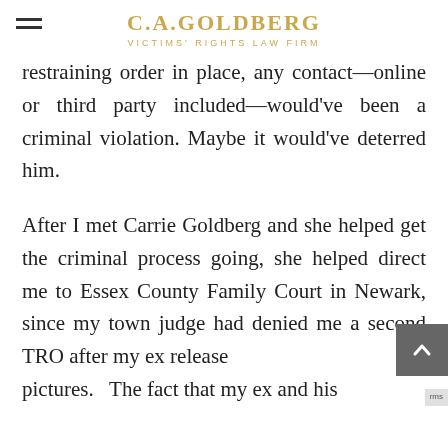C.A.GOLDBERG VICTIMS' RIGHTS LAW FIRM
restraining order in place, any contact—online or third party included—would've been a criminal violation. Maybe it would've deterred him.

After I met Carrie Goldberg and she helped get the criminal process going, she helped direct me to Essex County Family Court in Newark, since my town judge had denied me a second TRO after my ex released pictures. The fact that my ex and his